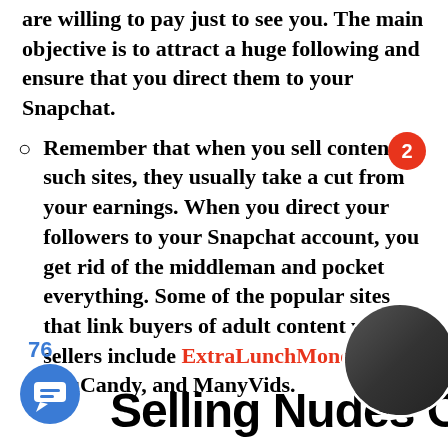are willing to pay just to see you. The main objective is to attract a huge following and ensure that you direct them to your Snapchat.
Remember that when you sell content on such sites, they usually take a cut from your earnings. When you direct your followers to your Snapchat account, you get rid of the middleman and pocket everything. Some of the popular sites that link buyers of adult content with sellers include ExtraLunchMoney, YouCandy, and ManyVids.
76
Selling Nudes On Ca...